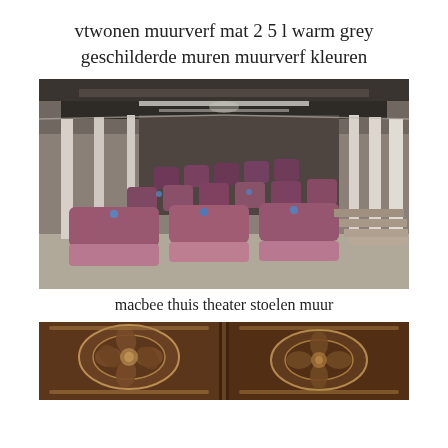vtwonen muurverf mat 2 5 l warm grey geschilderde muren muurverf kleuren
[Figure (photo): Home theater room with rows of plush dark purple/mauve recliner seats arranged on tiered platforms, grey textured walls with vertical white pillar accents, and a dark coffered ceiling with lighting strips.]
macbee thuis theater stoelen muur
[Figure (photo): Ornate decorative ceiling with carved floral/medallion motifs in dark brown/burgundy tones with gold detailing, partially visible home theater or luxury interior.]